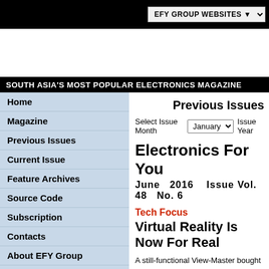EFY GROUP WEBSITES
SOUTH ASIA'S MOST POPULAR ELECTRONICS MAGAZINE
Home
Magazine
Previous Issues
Current Issue
Feature Archives
Source Code
Subscription
Contacts
About EFY Group
OUR MAGAZINES
+ Open Source For You
+ Electronics Bazaar
Previous Issues
Select Issue Month  January  Issue Year
Electronics For You
June  2016   Issue Vol. 48  No. 6
Tech Focus
Virtual Reality Is Now For Real
A still-functional View-Master bought sometime in the 1950s rests among other memorabilia in the showcase at my uncle's house. A third generation of kids still enjoys fixing the image reels, now old and porous, to have a look at national monuments or wildlife scenes.
Buyers Guide
How To Select The Right Wi-Fi And RF...
Cyborg
The Man-M...